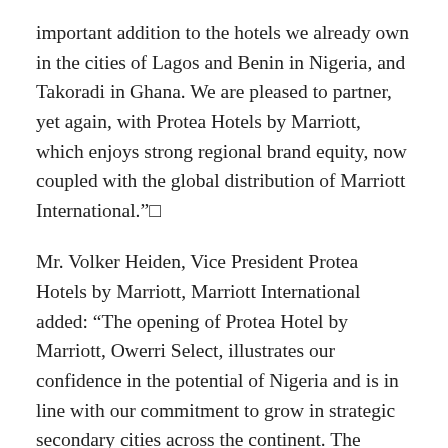important addition to the hotels we already own in the cities of Lagos and Benin in Nigeria, and Takoradi in Ghana. We are pleased to partner, yet again, with Protea Hotels by Marriott, which enjoys strong regional brand equity, now coupled with the global distribution of Marriott International.”□
Mr. Volker Heiden, Vice President Protea Hotels by Marriott, Marriott International added: “The opening of Protea Hotel by Marriott, Owerri Select, illustrates our confidence in the potential of Nigeria and is in line with our commitment to grow in strategic secondary cities across the continent. The recent expansion of the city’s airport, will enhance its attractiveness as a destination, which we are confident will further drive business travel.”□